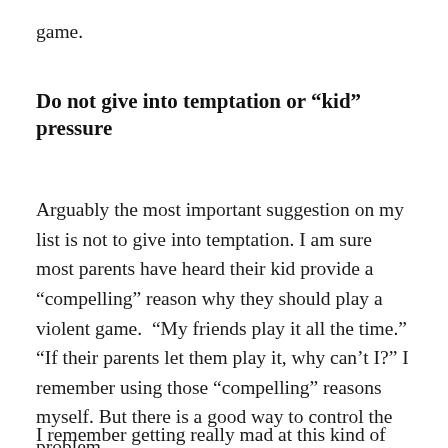game.
Do not give into temptation or “kid” pressure
Arguably the most important suggestion on my list is not to give into temptation. I am sure most parents have heard their kid provide a “compelling” reason why they should play a violent game. “My friends play it all the time.” “If their parents let them play it, why can’t I?” I remember using those “compelling” reasons myself. But there is a good way to control the problem.
I remember getting really mad at this kind of